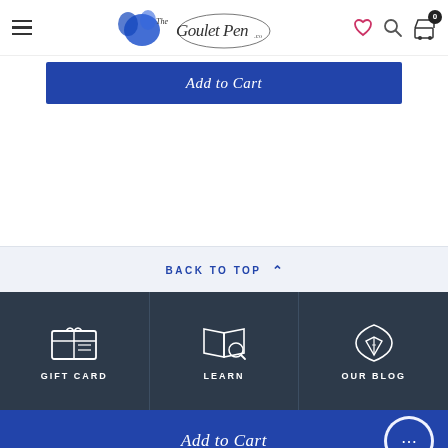The Goulet Pen Co. navigation header with hamburger menu, logo, wishlist, search, and cart icons
Add to Cart
BACK TO TOP
[Figure (infographic): Footer navigation with three icons and labels: GIFT CARD (gift card icon), LEARN (open book with magnifier icon), OUR BLOG (fountain pen nib icon)]
Add to Cart